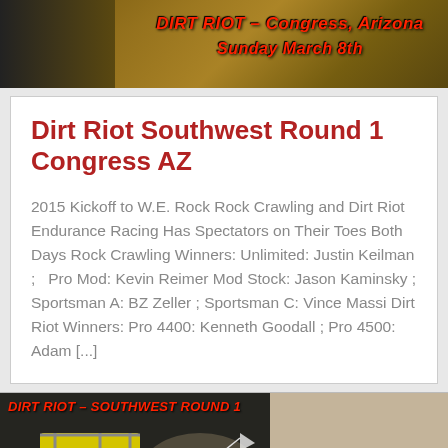[Figure (photo): Dirt Riot – Congress, Arizona, Sunday March 8th banner image with dark background and orange/brown terrain]
Dirt Riot Southwest Round 1 Congress AZ
2015 Kickoff to W.E. Rock Rock Crawling and Dirt Riot Endurance Racing Has Spectators on Their Toes Both Days Rock Crawling Winners: Unlimited: Justin Keilman ;   Pro Mod: Kevin Reimer Mod Stock: Jason Kaminsky ; Sportsman A: BZ Zeller ; Sportsman C: Vince Massi Dirt Riot Winners: Pro 4400: Kenneth Goodall ; Pro 4500: Adam [...]
[Figure (photo): Dirt Riot – Southwest Round 1 banner image showing an off-road buggy/racing vehicle kicking up dust, with text Photos ~ Stories ~ Results at the bottom]